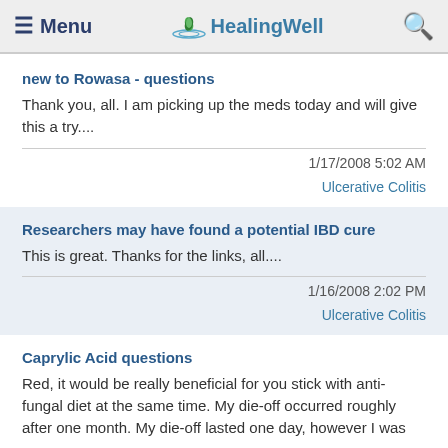≡ Menu   HealingWell   🔍
new to Rowasa - questions
Thank you, all. I am picking up the meds today and will give this a try....
1/17/2008 5:02 AM
Ulcerative Colitis
Researchers may have found a potential IBD cure
This is great. Thanks for the links, all....
1/16/2008 2:02 PM
Ulcerative Colitis
Caprylic Acid questions
Red, it would be really beneficial for you stick with anti-fungal diet at the same time. My die-off occurred roughly after one month. My die-off lasted one day, however I was